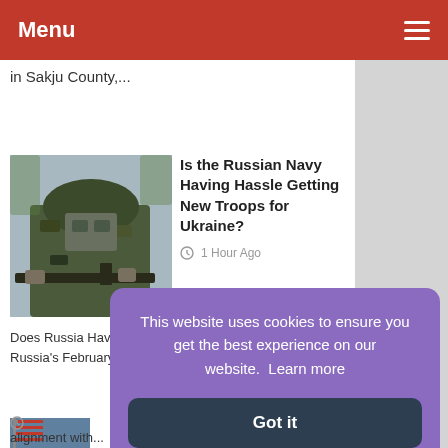Menu
in Sakju County,...
[Figure (photo): Soldier in combat gear holding a rifle]
Is the Russian Navy Having Hassle Getting New Troops for Ukraine?
1 Hour Ago
Does Russia Have a Pressure Era Downside in Ukraine? Russia's February...
[Figure (photo): Flags partially visible, bottom article thumbnail]
This website uses cookies to ensure you get the best experience on our website.  Learn more
Got it
alignment with...